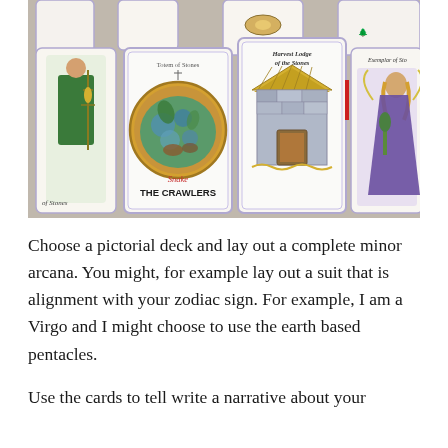[Figure (photo): Photograph of several tarot cards laid out on a surface. Visible cards include 'Snake The Crawlers' (Totem of Stones), 'Harvest Lodge of the Stones', 'Exemplar of Sto[nes]', and a partial card showing a figure with corn (Stones). Cards feature hand-drawn illustrations with a fantasy/nature theme.]
Choose a pictorial deck and lay out a complete minor arcana. You might, for example lay out a suit that is alignment with your zodiac sign. For example, I am a Virgo and I might choose to use the earth based pentacles.
Use the cards to tell write a narrative about your